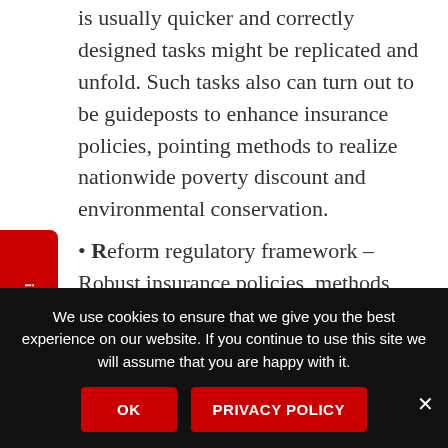is usually quicker and correctly designed tasks might be replicated and unfold. Such tasks also can turn out to be guideposts to enhance insurance policies, pointing methods to realize nationwide poverty discount and environmental conservation.
Reform regulatory framework – Robust insurance policies, methods and programmes – to assist youngsters's proper to nutritious diets and important diet providers – are essential. Thus revamp, redesign or reframe insurance policies, packages had been wanted to
E Weight Loss Tips Here!
We use cookies to ensure that we give you the best experience on our website. If you continue to use this site we will assume that you are happy with it.